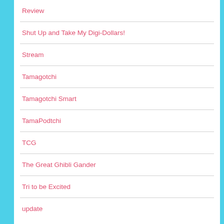Review
Shut Up and Take My Digi-Dollars!
Stream
Tamagotchi
Tamagotchi Smart
TamaPodtchi
TCG
The Great Ghibli Gander
Tri to be Excited
update